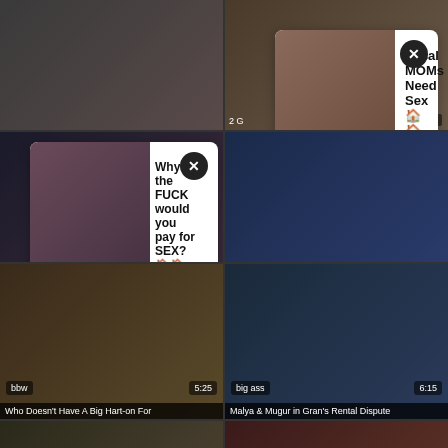[Figure (screenshot): Adult video website screenshot showing a grid of video thumbnails with two advertising pop-up overlays]
Local MOMs Need Sex 🏠🏠
MILFs & MOMs looking for discreet Sex 30+ 🏠🏠
Why the FUCK would you pay for SEX?🏠🏠
Fuck Horny Babes in Ashburn 🏠🏠
Who Doesn't Have A Big Hart-on For
Malya & Mugur in Gran's Rental Dispute